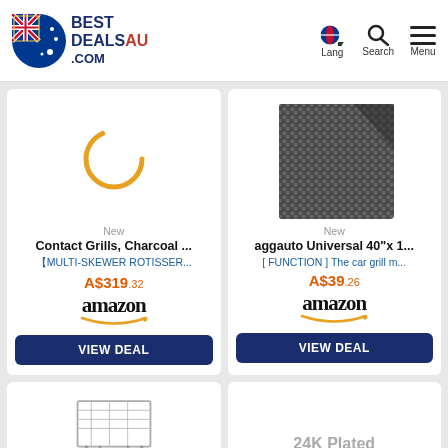BestDealsAU.com — Lang, Search, Menu
[Figure (screenshot): Product card: Contact Grills, Charcoal ... MULTI-SKEWER ROTISSER... A$319.32 on Amazon with VIEW DEAL button]
[Figure (screenshot): Product card: aggauto Universal 40"x 1... [FUNCTION] The car grill m... A$39.26 on Amazon with VIEW DEAL button]
[Figure (screenshot): Partial product card bottom-left showing a folding grill product image]
[Figure (screenshot): Partial product card bottom-right showing text: 24K Plated Gold Grill...]